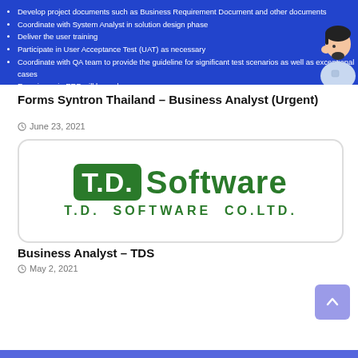[Figure (illustration): Blue banner with bullet points listing job responsibilities (Develop project documents, Coordinate with System Analyst, Deliver user training, Participate in UAT, Coordinate with QA team, Experience in ERP) and an illustrated person on the right.]
Forms Syntron Thailand – Business Analyst (Urgent)
June 23, 2021
[Figure (logo): T.D. Software logo with green box containing T.D. text and 'Software' in green letters, subtitle T.D. SOFTWARE CO.LTD.]
Business Analyst – TDS
May 2, 2021